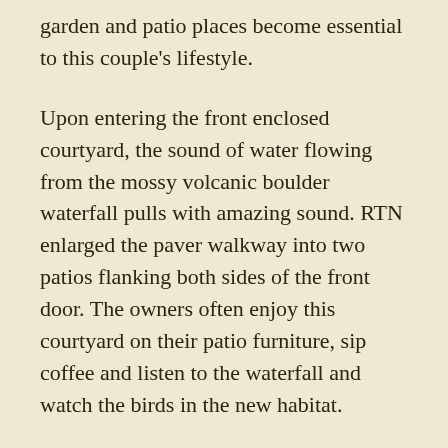garden and patio places become essential to this couple's lifestyle.
Upon entering the front enclosed courtyard, the sound of water flowing from the mossy volcanic boulder waterfall pulls with amazing sound. RTN enlarged the paver walkway into two patios flanking both sides of the front door. The owners often enjoy this courtyard on their patio furniture, sip coffee and listen to the waterfall and watch the birds in the new habitat.
Another treat created by the RTN team is the secret garden with pavers and raised boulder planting areas to grow vegetables, blueberries, and cutflowers. Out back is an alpine perennial garden in the rockery next to a circular paver patio that